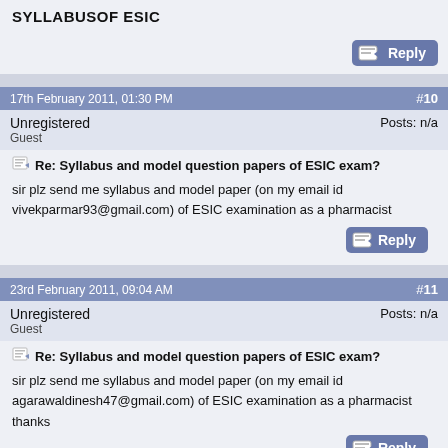SYLLABUSOF ESIC
[Figure (screenshot): Reply button with pencil icon]
17th February 2011, 01:30 PM  #10
Unregistered
Guest
Posts: n/a
Re: Syllabus and model question papers of ESIC exam?
sir plz send me syllabus and model paper (on my email id vivekparmar93@gmail.com) of ESIC examination as a pharmacist
[Figure (screenshot): Reply button with pencil icon]
23rd February 2011, 09:04 AM  #11
Unregistered
Guest
Posts: n/a
Re: Syllabus and model question papers of ESIC exam?
sir plz send me syllabus and model paper (on my email id agarawaldinesh47@gmail.com) of ESIC examination as a pharmacist
thanks
[Figure (screenshot): Reply button with pencil icon]